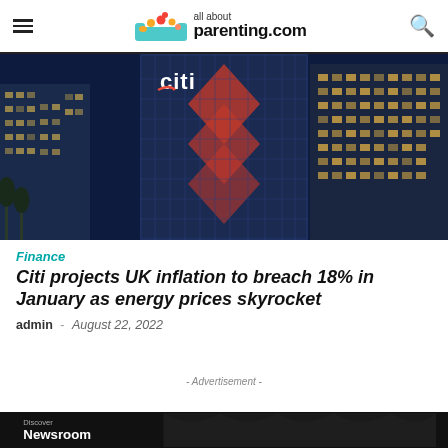all about parenting.com
[Figure (photo): Nighttime photo of Citigroup (Citi) office buildings with illuminated Citi logo signs on glass skyscrapers against a dark blue sky]
Finance
Citi projects UK inflation to breach 18% in January as energy prices skyrocket
admin – August 22, 2022
- Advertisement -
[Figure (screenshot): Dark advertisement banner at bottom of page reading 'Discover Newsroom']